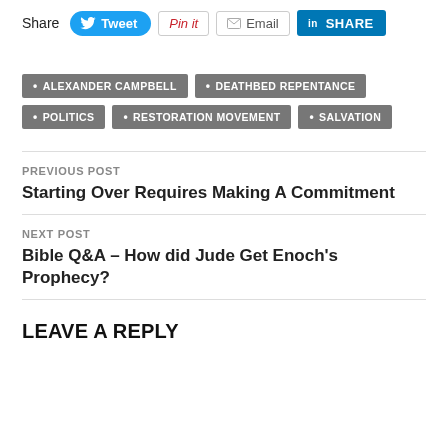Share Tweet Pin it Email SHARE
ALEXANDER CAMPBELL
DEATHBED REPENTANCE
POLITICS
RESTORATION MOVEMENT
SALVATION
PREVIOUS POST
Starting Over Requires Making A Commitment
NEXT POST
Bible Q&A – How did Jude Get Enoch's Prophecy?
LEAVE A REPLY